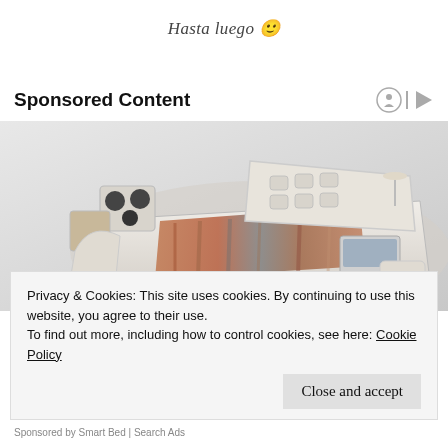Hasta luego 🙂
Sponsored Content
[Figure (photo): A luxury smart bed with speakers, recliner attachments, built-in storage, a laptop stand, and a colorful striped blanket, shown on a light grey background.]
Privacy & Cookies: This site uses cookies. By continuing to use this website, you agree to their use.
To find out more, including how to control cookies, see here: Cookie Policy
Close and accept
Sponsored by Smart Bed | Search Ads